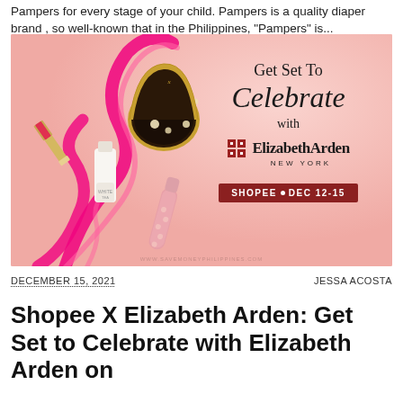Pampers for every stage of your child. Pampers is a quality diaper brand , so well-known that in the Philippines, "Pampers" is...
[Figure (photo): Elizabeth Arden holiday advertisement on pink background showing cosmetic products (lipstick, compact powder with pearls, serum bottle, capsule tube) with pink ribbon decoration. Text reads 'Get Set To Celebrate with Elizabeth Arden New York' and 'SHOPEE • DEC 12-15']
DECEMBER 15, 2021    JESSA ACOSTA
Shopee X Elizabeth Arden: Get Set to Celebrate with Elizabeth Arden on